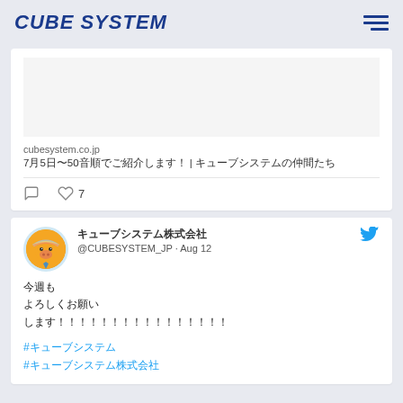CUBE SYSTEM
[Figure (screenshot): Shared link card with placeholder image, URL cubesystem.co.jp, Japanese text title, comment and like (7) icons]
[Figure (screenshot): Twitter/X post by @CUBESYSTEM_JP dated Aug 12 with Japanese text and hashtags, pig mascot avatar]